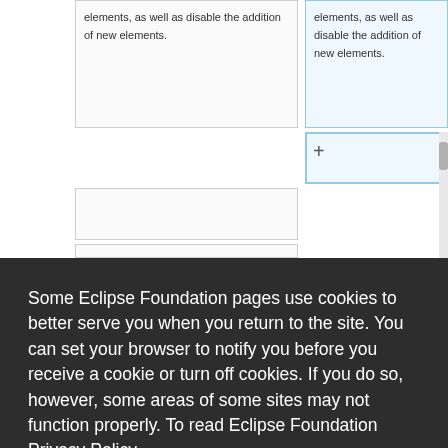[Figure (screenshot): Partial view of a two-column diff/comparison interface showing text about disabling elements, with a blue highlighted right column containing a '+' symbol, followed by additional comparison rows.]
Some Eclipse Foundation pages use cookies to better serve you when you return to the site. You can set your browser to notify you before you receive a cookie or turn off cookies. If you do so, however, some areas of some sites may not function properly. To read Eclipse Foundation Privacy Policy click here.
Line 295:
Line 300: